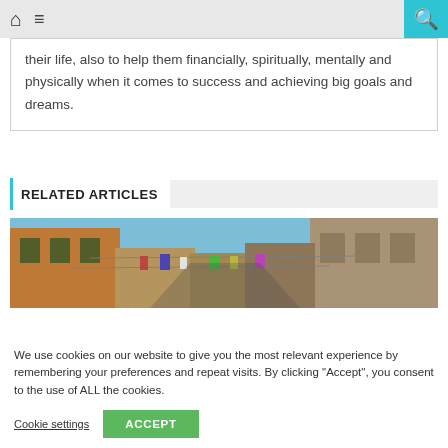Navigation bar with home, menu, and search icons
their life, also to help them financially, spiritually, mentally and physically when it comes to success and achieving big goals and dreams.
RELATED ARTICLES
[Figure (photo): Street scene with colorful buildings and laundry hanging between buildings under a blue sky]
We use cookies on our website to give you the most relevant experience by remembering your preferences and repeat visits. By clicking “Accept”, you consent to the use of ALL the cookies.
Cookie settings  ACCEPT